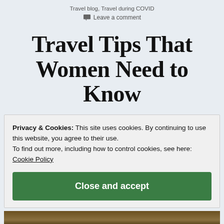Travel blog, Travel during COVID
Leave a comment
Travel Tips That Women Need to Know
Privacy & Cookies: This site uses cookies. By continuing to use this website, you agree to their use.
To find out more, including how to control cookies, see here:
Cookie Policy
Close and accept
[Figure (photo): Bottom strip showing a partial photo, dark outdoor scene]